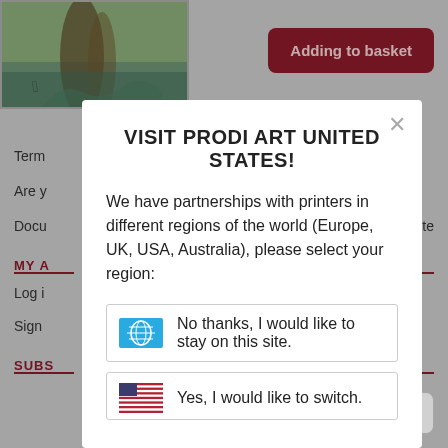[Figure (screenshot): Partial background page showing a nature photo (tree roots by water), an 'Adding to basket' button in dark red, and partial text lines for Terms, Are you, Document sections, MY A (account), Log in, Sign up, SUBS (subscribe) sections with a light gray background. A modal dialog overlays the center of the page.]
VISIT PRODI ART UNITED STATES!
We have partnerships with printers in different regions of the world (Europe, UK, USA, Australia), please select your region:
No thanks, I would like to stay on this site.
Yes, I would like to switch.